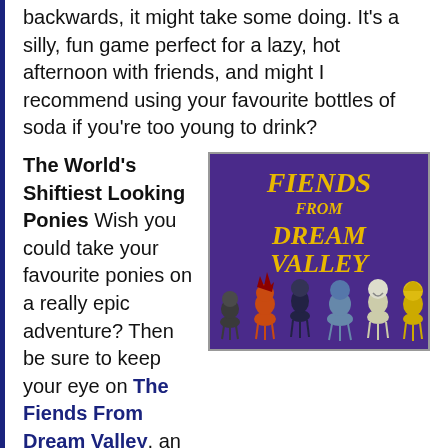backwards, it might take some doing. It's a silly, fun game perfect for a lazy, hot afternoon with friends, and might I recommend using your favourite bottles of soda if you're too young to drink?
The World's Shiftiest Looking Ponies Wish you could take your favourite ponies on a really epic adventure? Then be sure to keep your eye on The Fiends From Dream Valley, an upcoming side-scrolling platform action adventure. When several strange ponies show up at an event for Princess Celestia, things go very wrong and Twilight Sparkle wakes up on the edge of the Everfree Forest. There's a playable Flash demo on the official site, but for the full
[Figure (illustration): Logo/artwork for 'Fiends From Dream Valley' — purple background with yellow stylized text reading 'FIENDS FROM DREAM VALLEY' and illustrated pony characters below]